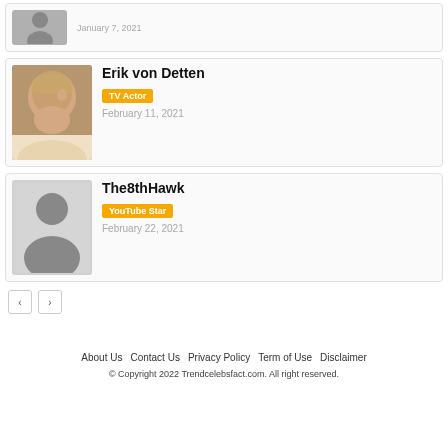[Figure (other): Partial card at top showing silhouette placeholder image and date January 7, 2021]
January 7, 2021
[Figure (photo): Photo of Erik von Detten, blonde hair]
Erik von Detten
TV Actor
February 11, 2021
[Figure (illustration): Silhouette placeholder for The8thHawk]
The8thHawk
YouTube Star
February 22, 2021
About Us   Contact Us   Privacy Policy   Term of Use   Disclaimer
© Copyright 2022 Trendcelebsfact.com. All right reserved.